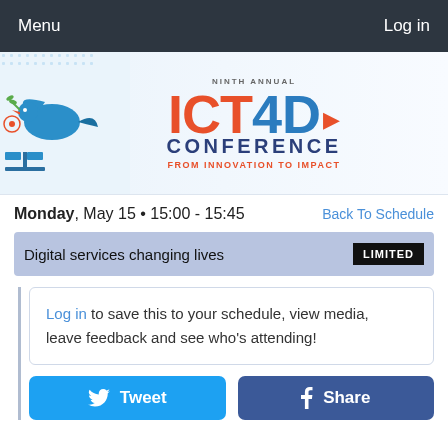Menu    Log in
[Figure (logo): Ninth Annual ICT4D Conference - From Innovation to Impact banner logo with blue dove illustration on left and colorful ICT4D text]
Monday, May 15 • 15:00 - 15:45     Back To Schedule
Digital services changing lives  LIMITED
Log in to save this to your schedule, view media, leave feedback and see who's attending!
Tweet   Share